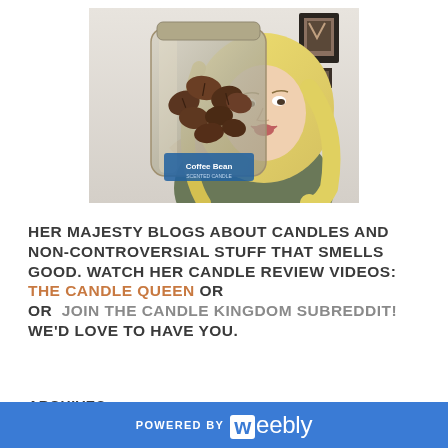[Figure (photo): A blonde woman holding up a large glass jar candle labeled 'Coffee Bean' toward the camera, making an excited expression. She is in a home setting with framed pictures on the wall behind her.]
HER MAJESTY BLOGS ABOUT CANDLES AND NON-CONTROVERSIAL STUFF THAT SMELLS GOOD. WATCH HER CANDLE REVIEW VIDEOS: THE CANDLE QUEEN OR OR  JOIN THE CANDLE KINGDOM SUBREDDIT! WE'D LOVE TO HAVE YOU.
ARCHIVES
POWERED BY weebly